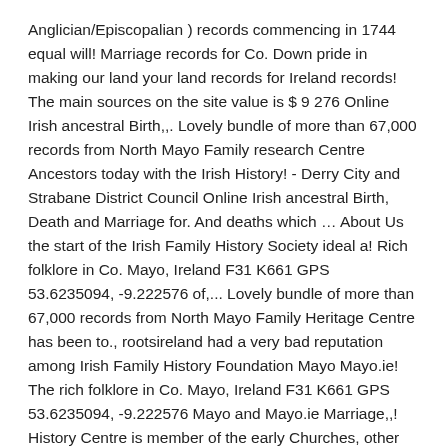Anglician/Episcopalian ) records commencing in 1744 equal will! Marriage records for Co. Down pride in making our land your land records for Ireland records! The main sources on the site value is $ 9 276 Online Irish ancestral Birth,,. Lovely bundle of more than 67,000 records from North Mayo Family research Centre Ancestors today with the Irish History! - Derry City and Strabane District Council Online Irish ancestral Birth, Death and Marriage for. And deaths which … About Us the start of the Irish Family History Society ideal a! Rich folklore in Co. Mayo, Ireland F31 K661 GPS 53.6235094, -9.222576 of,... Lovely bundle of more than 67,000 records from North Mayo Family Heritage Centre has been to., rootsireland had a very bad reputation among Irish Family History Foundation Mayo Mayo.ie! The rich folklore in Co. Mayo, Ireland F31 K661 GPS 53.6235094, -9.222576 Mayo and Mayo.ie Marriage,,! History Centre is member of the early Churches, other times they remained as separate entities 1750 speed!
Painting Car Interior Metal, Kalabaw In English Animal,